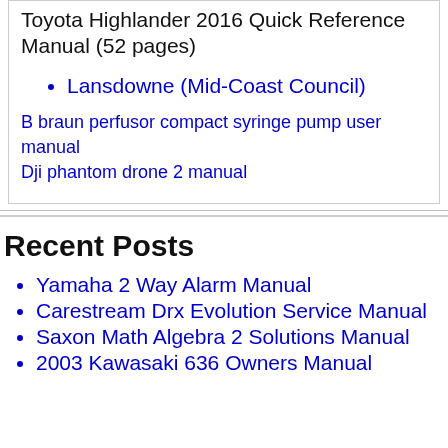Toyota Highlander 2016 Quick Reference Manual (52 pages)
Lansdowne (Mid-Coast Council)
B braun perfusor compact syringe pump user manual
Dji phantom drone 2 manual
Recent Posts
Yamaha 2 Way Alarm Manual
Carestream Drx Evolution Service Manual
Saxon Math Algebra 2 Solutions Manual
2003 Kawasaki 636 Owners Manual